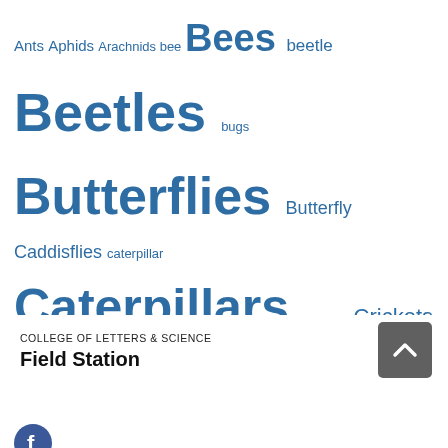[Figure (infographic): Tag cloud of insect/arthropod categories in varying font sizes, all in blue, on white background. Words include: Ants, Aphids, Arachnids, bee, Bees, beetle, Beetles, bugs, Butterflies, Butterfly, Caddisflies, caterpillar, Caterpillars, Cicadas, Crickets, Damselflies, Dragonflies, dragonfly, Fishflies, Flies, Fly, Gnats, Grasshoppers, Katydids, Ladybugs, Leafhoppers, Locusts, Midges, Mites, Mosquitoes, moth, Moths, Planthoppers, Sawflies, Skippers, Spiders, Springtails, Stoneflies, Syrphids, Ticks, Treehoppers, True Bugs, Walkingsticks, Wasps, Weevils]
COLLEGE OF LETTERS & SCIENCE
Field Station